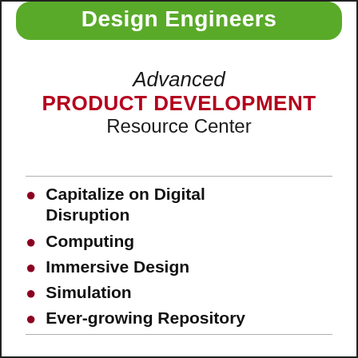Design Engineers
Advanced PRODUCT DEVELOPMENT Resource Center
Capitalize on Digital Disruption
Computing
Immersive Design
Simulation
Ever-growing Repository